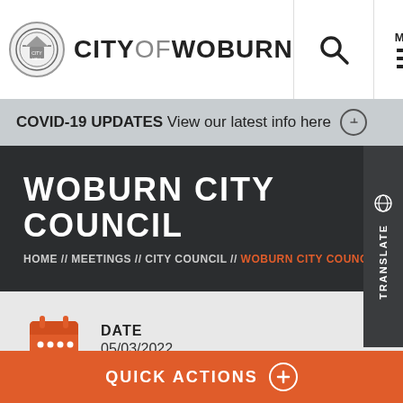CITY OF WOBURN
COVID-19 UPDATES View our latest info here
WOBURN CITY COUNCIL
HOME // MEETINGS // CITY COUNCIL // WOBURN CITY COUNCIL
DATE
05/03/2022
TIME
7:00 pm
QUICK ACTIONS